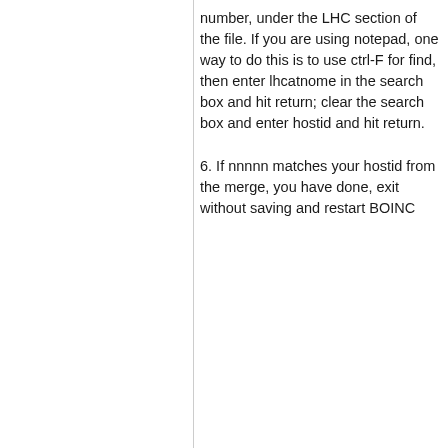number, under the LHC section of the file. If you are using notepad, one way to do this is to use ctrl-F for find, then enter lhcatnome in the search box and hit return; clear the search box and enter hostid and hit return.
6. If nnnnn matches your hostid from the merge, you have done, exit without saving and restart BOINC